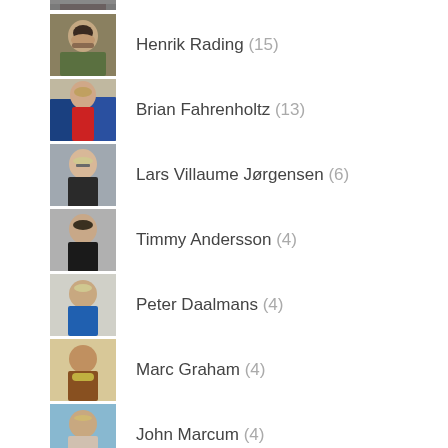[Figure (photo): Partial photo of a person at top of page (cropped)]
Henrik Rading (15)
Brian Fahrenholtz (13)
Lars Villaume Jørgensen (6)
Timmy Andersson (4)
Peter Daalmans (4)
Marc Graham (4)
John Marcum (4)